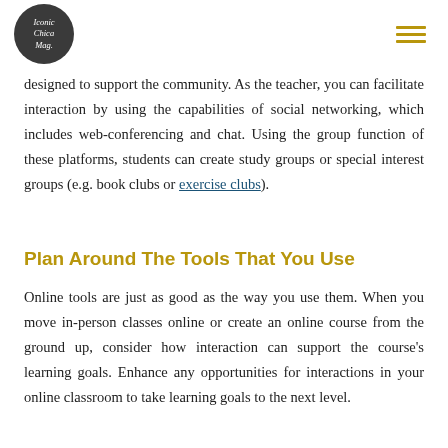Iconic Chica Mag.
designed to support the community. As the teacher, you can facilitate interaction by using the capabilities of social networking, which includes web-conferencing and chat. Using the group function of these platforms, students can create study groups or special interest groups (e.g. book clubs or exercise clubs).
Plan Around The Tools That You Use
Online tools are just as good as the way you use them. When you move in-person classes online or create an online course from the ground up, consider how interaction can support the course's learning goals. Enhance any opportunities for interactions in your online classroom to take learning goals to the next level.